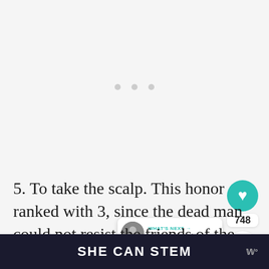[Figure (screenshot): Loading spinner dots (three small grey circles) on light grey background, with a teal heart/like button showing 748 likes, a share button, and a 'What's Next' overlay showing Tail Feather Fans thumbnail]
5. To take the scalp. This honor ranked with 3, since the dead man could not resist the friends of the slain might rally around the body and strive to prevent the act by carrying the
SHE CAN STEM